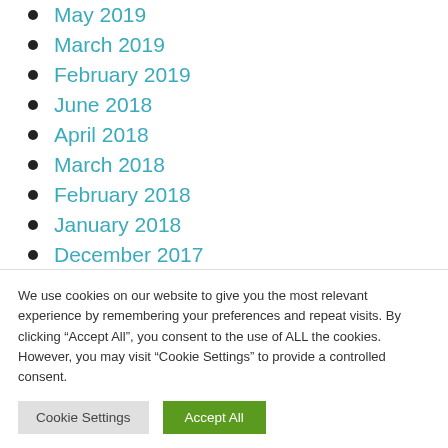May 2019
March 2019
February 2019
June 2018
April 2018
March 2018
February 2018
January 2018
December 2017
November 2017
We use cookies on our website to give you the most relevant experience by remembering your preferences and repeat visits. By clicking “Accept All”, you consent to the use of ALL the cookies. However, you may visit “Cookie Settings” to provide a controlled consent.